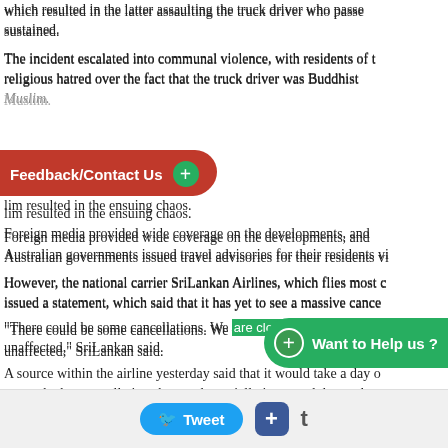Sparks flew with a roadside brawl over a truck driver thwarting a threat which resulted in the latter assaulting the truck driver who passed sustained.
The incident escalated into communal violence, with residents of religious hatred over the fact that the truck driver was Buddhist Muslim.
lim resulted in the ensuing chaos.
Foreign media provided wide coverage on the developments, and Australian governments issued travel advisories for their residents vi
However, the national carrier SriLankan Airlines, which flies most c issued a statement, which said that it has yet to see a massive cance
“There could be some cancellations. We are closely monitoring the unaffected,” SriLankan said.
A source within the airline yesterday said that it would take a day o state whether cancellations have substantially increased due to the s
The unrest would not only result in cancellations by tourists who w shortly, but would also discourage potential bookings for the com Wettasinghe)
http://www.dailymirror.lk/article/Kandy-violence-leads-tourists-to- 147011.html
< Prev    Next >
Tweet  +  t